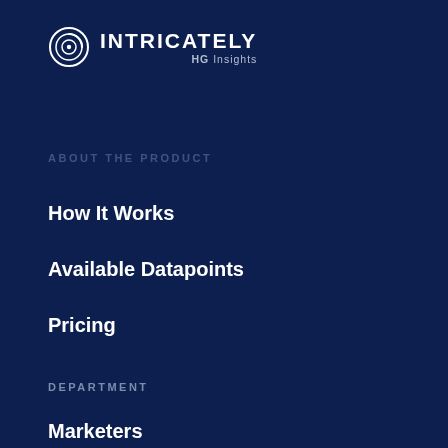[Figure (logo): Intricately HG Insights logo — circular target icon with white text INTRICATELY and subtext HG Insights]
ABOUT THE PRODUCT
How It Works
Available Datapoints
Pricing
DEPARTMENT
Marketers
Sales
C-Suite
INDUSTRY
Cloud Hosting
Data Centers